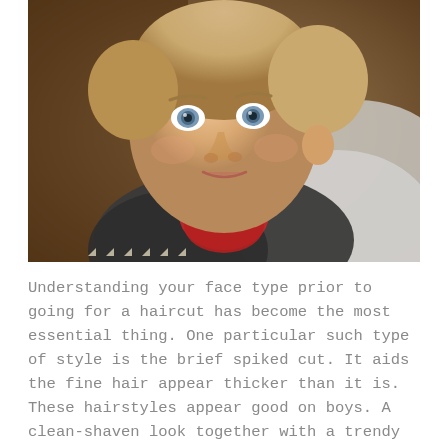[Figure (photo): Close-up portrait photo of a young blonde toddler boy with blue-grey eyes, wearing a dark jacket over a red turtleneck and a grey hoodie. The background is blurred warm brown tones suggesting an outdoor setting.]
Understanding your face type prior to going for a haircut has become the most essential thing. One particular such type of style is the brief spiked cut. It aids the fine hair appear thicker than it is. These hairstyles appear good on boys. A clean-shaven look together with a trendy hairdo is likely to make you distinguish yourself in a crowd. Do not elect for extremely short haircuts in case you have a lengthy face. It's expected that proper